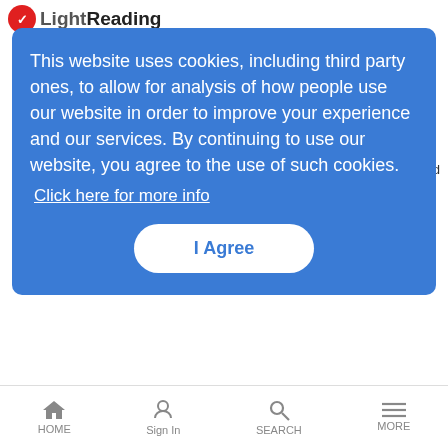[Figure (screenshot): LightReading website logo at top left with red circle icon]
This website uses cookies, including third party ones, to allow for analysis of how people use our website in order to improve your experience and our services. By continuing to use our website, you agree to the use of such cookies.
Click here for more info
I Agree
[Figure (photo): Thumbnail video image of a woman]
Women in Comms
Women in Comms Introduction Videos | 7/20/2015
Thank you for joining us as we launch Light Reading's online presence for its Women in Comms initiative to promote and empower women in the communications industry.
HOME  Sign In  SEARCH  MORE